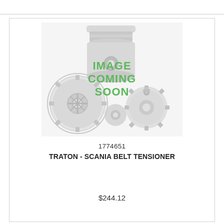[Figure (illustration): Placeholder image showing mechanical parts (piston, gears) in light grey with green bold text reading IMAGE COMING SOON overlaid in the center]
1774651
TRATON - SCANIA BELT TENSIONER
$244.12